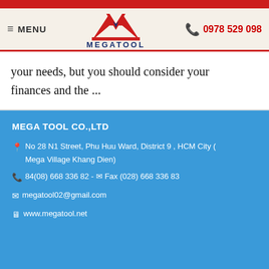[Figure (logo): Megatool logo with red M shape and dark blue triangle, with text MEGATOOL below]
≡ MENU   MEGATOOL   📞 0978 529 098
your needs, but you should consider your finances and the ...
MEGA TOOL CO.,LTD
📍 No 28 N1 Street, Phu Huu Ward, District 9 , HCM City ( Mega Village Khang Dien)
📞 84(08) 668 336 82 - ✉ Fax (028) 668 336 83
✉ megatool02@gmail.com
🖥 www.megatool.net